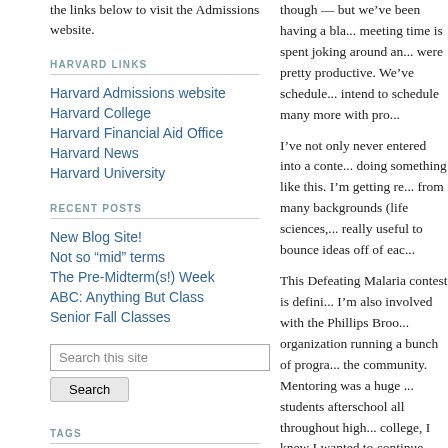the links below to visit the Admissions website.
HARVARD LINKS
Harvard Admissions website
Harvard College
Harvard Financial Aid Office
Harvard News
Harvard University
RECENT POSTS
New Blog Site!
Not so “mid” terms
The Pre-Midterm(s!) Week
ABC: Anything But Class
Senior Fall Classes
TAGS
though — but we’ve been having a bla... meeting time is spent joking around an... were pretty productive. We’ve schedule... intend to schedule many more with pr...
I’ve not only never entered into a conte... doing something like this. I’m getting re... from many backgrounds (life sciences,... really useful to bounce ideas off of eac...
This Defeating Malaria contest is defini... I’m also involved with the Phillips Broo... organization running a bunch of progra... the community. Mentoring was a huge ... students afterschool all throughout high... college, I knew I wanted to continue me... immigrant population in Dorchester wa... Vietnamese language ability alive.
I joined the Teen sector of the BRYE (B... freshman fall and started directing the p... semester. PBHA programs like BRYE w... lot of time this week interviewing applic... mentees this year so I’ve been calling a... proficiency in both Vietnamese and Sp... language abilities and I love it!
One more “extracurricular” that I’ve tac...